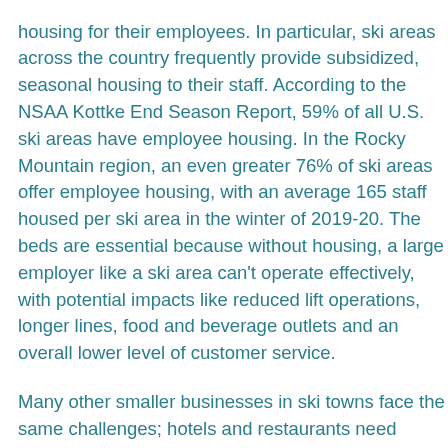housing for their employees. In particular, ski areas across the country frequently provide subsidized, seasonal housing to their staff. According to the NSAA Kottke End Season Report, 59% of all U.S. ski areas have employee housing. In the Rocky Mountain region, an even greater 76% of ski areas offer employee housing, with an average 165 staff housed per ski area in the winter of 2019-20. The beds are essential because without housing, a large employer like a ski area can't operate effectively, with potential impacts like reduced lift operations, longer lines, food and beverage outlets and an overall lower level of customer service.
Many other smaller businesses in ski towns face the same challenges; hotels and restaurants need places for their employees to live, too. But these smaller businesses can't always afford to provide housing by themselves. A community-wide, collaborative and creative approach is often necessary, as seen recently in Big Sky. The resort an...